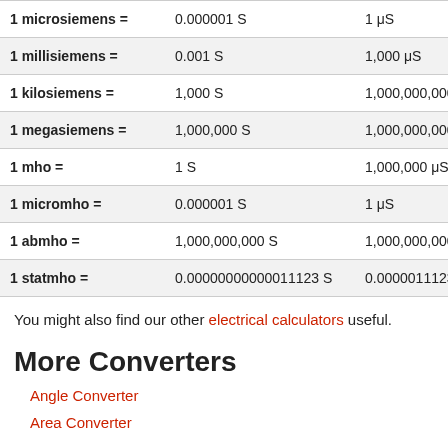| Unit | In Siemens | In Microsiemens |
| --- | --- | --- |
| 1 microsiemens = | 0.000001 S | 1 μS |
| 1 millisiemens = | 0.001 S | 1,000 μS |
| 1 kilosiemens = | 1,000 S | 1,000,000,000 μS |
| 1 megasiemens = | 1,000,000 S | 1,000,000,000,000 μS |
| 1 mho = | 1 S | 1,000,000 μS |
| 1 micromho = | 0.000001 S | 1 μS |
| 1 abmho = | 1,000,000,000 S | 1,000,000,000,000,000 μS |
| 1 statmho = | 0.00000000000011123 S | 0.0000011123 μS |
You might also find our other electrical calculators useful.
More Converters
Angle Converter
Area Converter